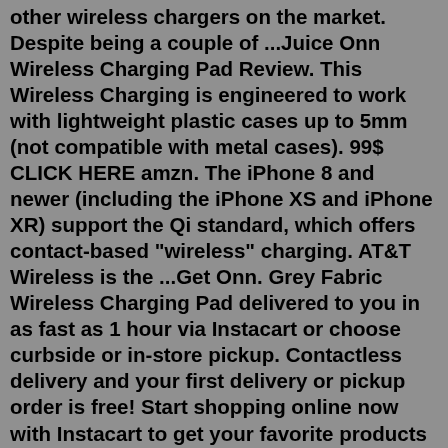other wireless chargers on the market. Despite being a couple of ...Juice Onn Wireless Charging Pad Review. This Wireless Charging is engineered to work with lightweight plastic cases up to 5mm (not compatible with metal cases). 99$ CLICK HERE amzn. The iPhone 8 and newer (including the iPhone XS and iPhone XR) support the Qi standard, which offers contact-based "wireless" charging. AT&T Wireless is the ...Get Onn. Grey Fabric Wireless Charging Pad delivered to you in as fast as 1 hour via Instacart or choose curbside or in-store pickup. Contactless delivery and your first delivery or pickup order is free! Start shopping online now with Instacart to get your favorite products on-demand. Combine this adapter with a wireless charging pad of your choice and you'll be able to take advantage of the convience wireless charging brings. Reset All. Filter By. Categories. Show All (95) ... Juice 'Grip It' 10W Wireless Charging Pad With USB Cable . $12.99. $14.99 | Save 13%. In stock ...Description. Wireless Charging Pad with LED Night Light - Compatible